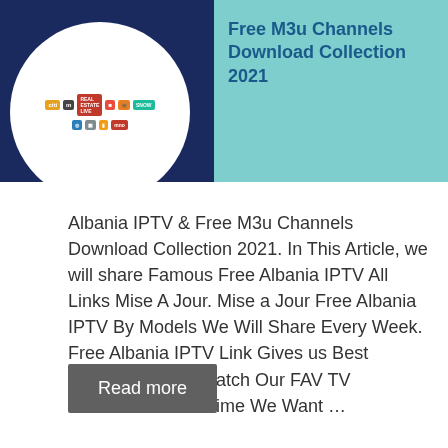[Figure (illustration): Banner image with dark blue background and circular white area containing TV channel logos on the left, and teal/cyan background with bold blue text 'Free M3u Channels Download Collection 2021' on the right]
Albania IPTV & Free M3u Channels Download Collection 2021. In This Article, we will share Famous Free Albania IPTV All Links Mise A Jour. Mise a Jour Free Albania IPTV By Models We Will Share Every Week. Free Albania IPTV Link Gives us Best Performance To Watch Our FAV TV Channels. Some Time We Want …
Read more